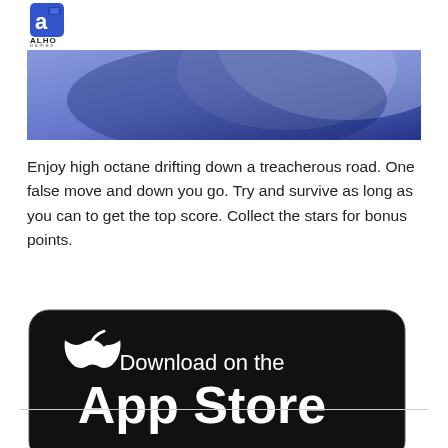[Figure (logo): Alho Games logo — blue square icon with letter 'a' and a small game controller, with text ALHO and games below]
[Figure (illustration): Blue and dark blue abstract hero banner image with curved shapes]
Enjoy high octane drifting down a treacherous road. One false move and down you go. Try and survive as long as you can to get the top score. Collect the stars for bonus points.
[Figure (logo): Download on the App Store badge — black rounded rectangle with white Apple logo and text 'Download on the App Store']